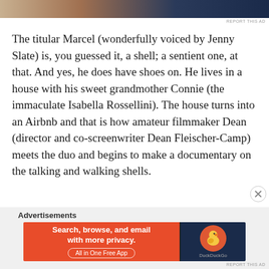[Figure (photo): Partial top of an advertisement image showing a person and dark blue background]
REPORT THIS AD
The titular Marcel (wonderfully voiced by Jenny Slate) is, you guessed it, a shell; a sentient one, at that. And yes, he does have shoes on. He lives in a house with his sweet grandmother Connie (the immaculate Isabella Rossellini). The house turns into an Airbnb and that is how amateur filmmaker Dean (director and co-screenwriter Dean Fleischer-Camp) meets the duo and begins to make a documentary on the talking and walking shells.
Advertisements
[Figure (screenshot): DuckDuckGo advertisement banner: Search, browse, and email with more privacy. All in One Free App]
REPORT THIS AD